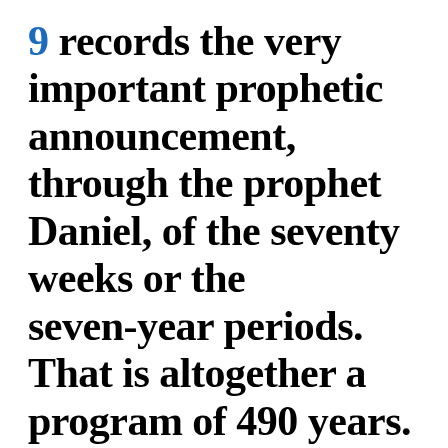9 records the very important prophetic announcement, through the prophet Daniel, of the seventy weeks or the seven-year periods. That is altogether a program of 490 years. You will